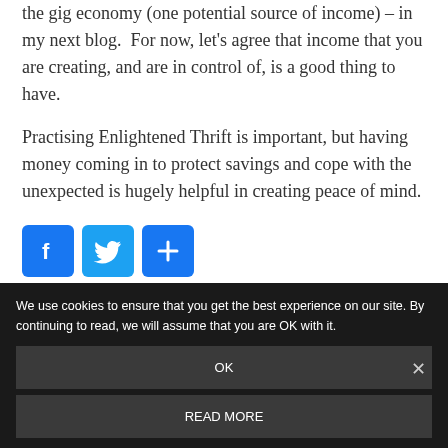the gig economy (one potential source of income) – in my next blog.  For now, let's agree that income that you are creating, and are in control of, is a good thing to have.
Practising Enlightened Thrift is important, but having money coming in to protect savings and cope with the unexpected is hugely helpful in creating peace of mind.
[Figure (other): Social share buttons: Facebook (blue), Twitter (blue), and a plus/share button (blue)]
We use cookies to ensure that you get the best experience on our site. By continuing to read, we will assume that you are OK with it.
OK
READ MORE